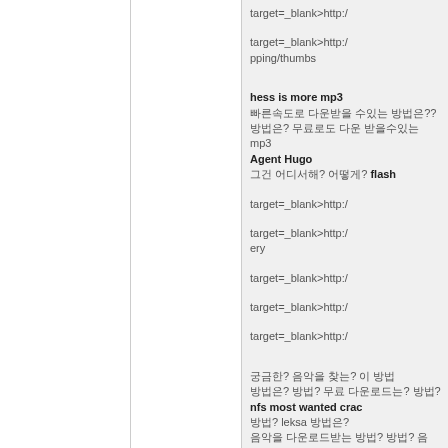target=_blank>http://
target=_blank>http:// pping/thumbs
hess is more mp3
빠른속도로 다운받을 수있는 방법은??
방법은? 무료로도 다운 받을수있는 mp3
Agent Hugo
그건 어디서해? 어떻게? flash
target=_blank>http://
target=_blank>http:// ery
target=_blank>http://
target=_blank>http://
target=_blank>http://
궁금한? 음악을 찾는? 이 방법
방법은? 방법? 무료 다운로드는? 방법?
nfs most wanted crack
방법? leksa 방법은?
음악을 다운로드받는 방법? 방법? 음